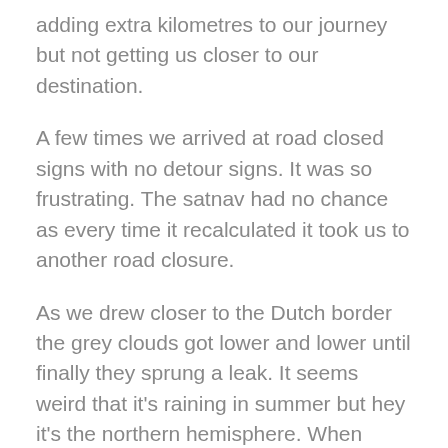adding extra kilometres to our journey but not getting us closer to our destination.
A few times we arrived at road closed signs with no detour signs. It was so frustrating. The satnav had no chance as every time it recalculated it took us to another road closure.
As we drew closer to the Dutch border the grey clouds got lower and lower until finally they sprung a leak. It seems weird that it’s raining in summer but hey it’s the northern hemisphere. When Belinda Carlisle sang about dancing in the summer rain I wondered what he hell she was on about. Now I know.
With the rain pelting down, the satnav went flat and of course the iPhone quickly followed suit. It was enough to make you cry.eventually we just gave up and headed for the border.